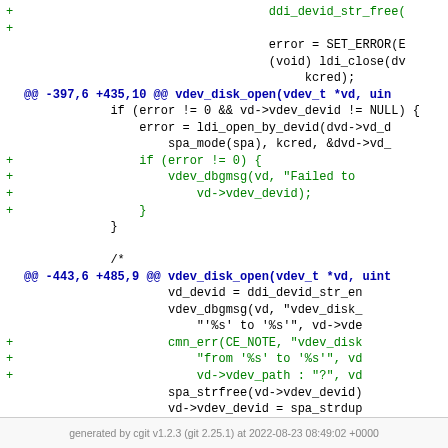[Figure (screenshot): Code diff showing additions to vdev_disk_open function with + lines in green and hunk headers in blue/bold. Context lines in black monospace.]
generated by cgit v1.2.3 (git 2.25.1) at 2022-08-23 08:49:02 +0000